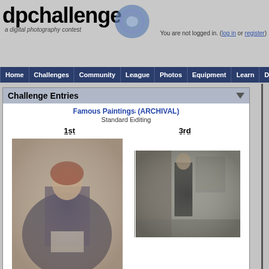dpchallenge — a digital photography contest. You are not logged in. (log in or register)
Home | Challenges | Community | League | Photos | Equipment | Learn | D
Challenge Entries
Famous Paintings (ARCHIVAL)
Standard Editing
1st
3rd
[Figure (photo): Thumbnail of 1st place entry showing a painting of a woman reading a book, seated, with red hair, muted tones]
[Figure (photo): Thumbnail of 3rd place entry showing a painting of a figure standing in a grey room, Whistler-style]
Portfolio Images
lei_73
Portfolio